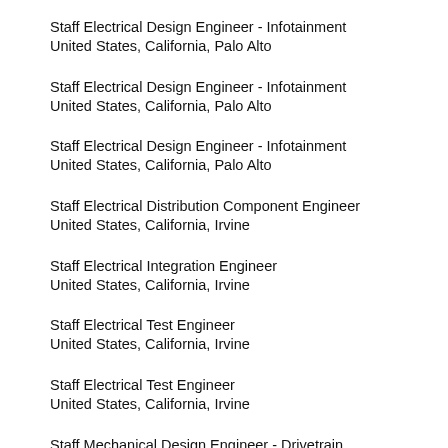Staff Electrical Design Engineer - Infotainment
United States, California, Palo Alto
Staff Electrical Design Engineer - Infotainment
United States, California, Palo Alto
Staff Electrical Design Engineer - Infotainment
United States, California, Palo Alto
Staff Electrical Distribution Component Engineer
United States, California, Irvine
Staff Electrical Integration Engineer
United States, California, Irvine
Staff Electrical Test Engineer
United States, California, Irvine
Staff Electrical Test Engineer
United States, California, Irvine
Staff Mechanical Design Engineer - Drivetrain
United States, California, Palo Alto